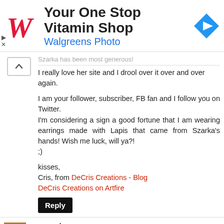[Figure (illustration): Walgreens advertisement banner: Walgreens cursive W logo on left, text 'Your One Stop Vitamin Shop' in bold and 'Walgreens Photo' in blue, blue diamond navigation icon on right, small ad controls (play/close) bottom-left]
Szarka has been most generous! I really love her site and I drool over it over and over again.
I am your follower, subscriber, FB fan and I follow you on Twitter.
I'm considering a sign a good fortune that I am wearing earrings made with Lapis that came from Szarka's hands! Wish me luck, will ya?!
;)
kisses,
Cris, from DeCris Creations - Blog
DeCris Creations on Artfire
Reply
gsangstar
April 11, 2011 at 11:50 AM
I AM A BLOG SUBSCRIBER ALSO :)